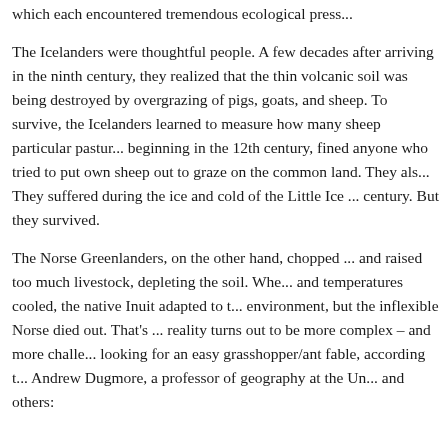which each encountered tremendous ecological press...
The Icelanders were thoughtful people. A few decades after arriving in the ninth century, they realized that the thin volcanic soil was being destroyed by overgrazing of pigs, goats, and sheep. To survive, the Icelanders learned to measure how many sheep particular pastures could support, beginning in the 12th century, fined anyone who tried to put out more than their own sheep out to graze on the common land. They also did other things. They suffered during the ice and cold of the Little Ice ... century. But they survived.
The Norse Greenlanders, on the other hand, chopped ... and raised too much livestock, depleting the soil. When ... and temperatures cooled, the native Inuit adapted to the environment, but the inflexible Norse died out. That's ... reality turns out to be more complex – and more challe... looking for an easy grasshopper/ant fable, according to Andrew Dugmore, a professor of geography at the Un... and others: